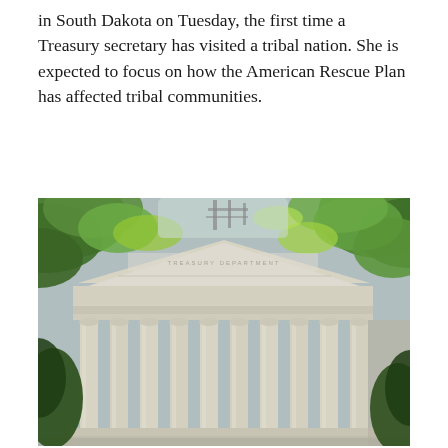in South Dakota on Tuesday, the first time a Treasury secretary has visited a tribal nation. She is expected to focus on how the American Rescue Plan has affected tribal communities.
[Figure (photo): The US Treasury Department building in Washington D.C., photographed from below through green tree leaves, showing the classical columns and pediment with 'THE TREASURY DEPARTMENT' inscription.]
The US Treasury Department in Washington, D.C., US, on Thursday, June 2, 2022. Photographer: Al Drago/Bloomberg via Getty Images